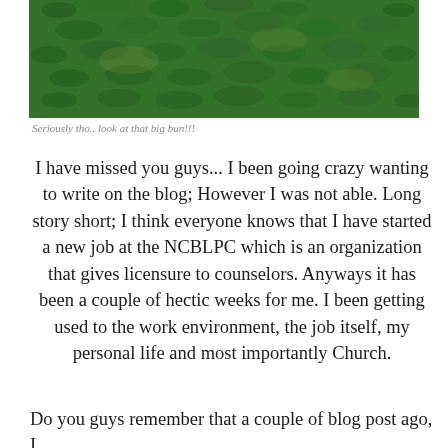[Figure (photo): Close-up photograph of green grass lawn]
Seriously tho.. look at that big bun!!!
I have missed you guys... I been going crazy wanting to write on the blog; However I was not able. Long story short; I think everyone knows that I have started a new job at the NCBLPC which is an organization that gives licensure to counselors. Anyways it has been a couple of hectic weeks for me. I been getting used to the work environment, the job itself, my personal life and most importantly Church.
Do you guys remember that a couple of blog post ago, I